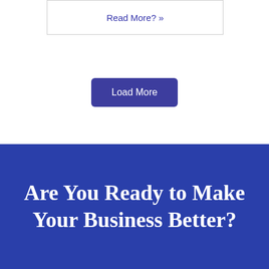Read More? »
Load More
Are You Ready to Make Your Business Better?